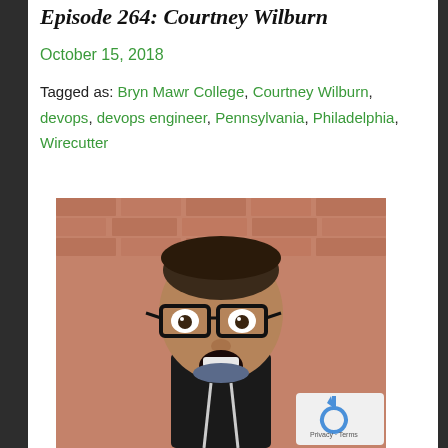Episode 264: Courtney Wilburn
October 15, 2018
Tagged as: Bryn Mawr College, Courtney Wilburn, devops, devops engineer, Pennsylvania, Philadelphia, Wirecutter
[Figure (photo): Portrait photo of Courtney Wilburn, a person with short hair wearing thick-rimmed black glasses and a black hoodie, with mouth open in a surprised or excited expression, standing in front of a brick wall background.]